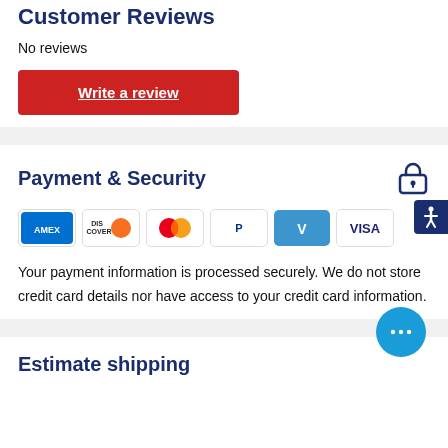Customer Reviews
No reviews
Write a review
Payment & Security
[Figure (logo): Payment method logos: American Express, Discover, Mastercard, PayPal, Venmo, Visa]
Your payment information is processed securely. We do not store credit card details nor have access to your credit card information.
Estimate shipping